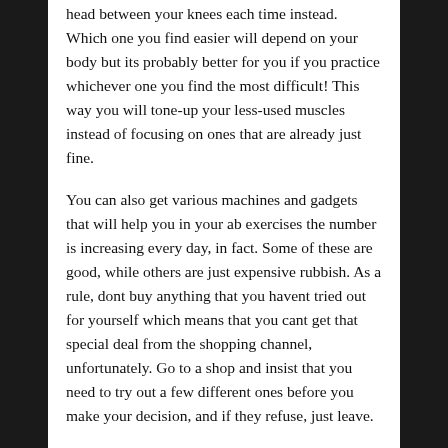head between your knees each time instead. Which one you find easier will depend on your body but its probably better for you if you practice whichever one you find the most difficult! This way you will tone-up your less-used muscles instead of focusing on ones that are already just fine.
You can also get various machines and gadgets that will help you in your ab exercises the number is increasing every day, in fact. Some of these are good, while others are just expensive rubbish. As a rule, dont buy anything that you havent tried out for yourself which means that you cant get that special deal from the shopping channel, unfortunately. Go to a shop and insist that you need to try out a few different ones before you make your decision, and if they refuse, just leave.